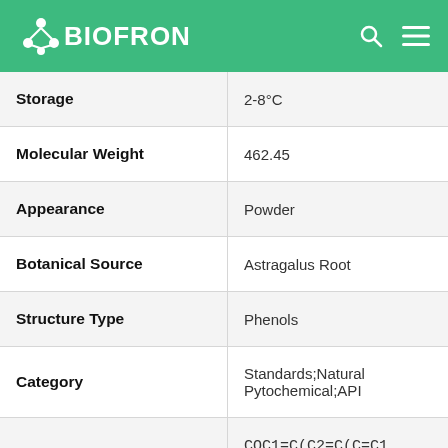[Figure (logo): BIOFRON logo with molecule icon on green header bar, with search and menu icons on right]
| Property | Value |
| --- | --- |
| Storage | 2-8°C |
| Molecular Weight | 462.45 |
| Appearance | Powder |
| Botanical Source | Astragalus Root |
| Structure Type | Phenols |
| Category | Standards;Natural Pytochemical;API |
| SMILES | COC1=C(C2=C(C=C1)C3COC4=C(C3O2)C=CC(=C4)OC5C(C( |